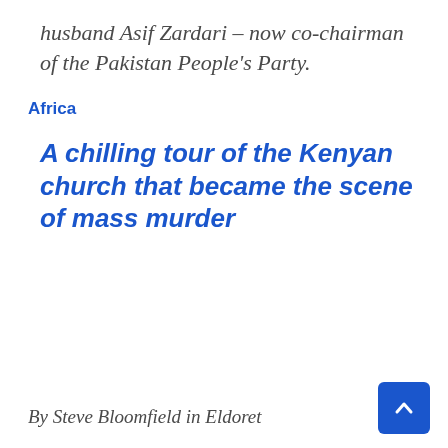husband Asif Zardari – now co-chairman of the Pakistan People's Party.
Africa
A chilling tour of the Kenyan church that became the scene of mass murder
By Steve Bloomfield in Eldoret